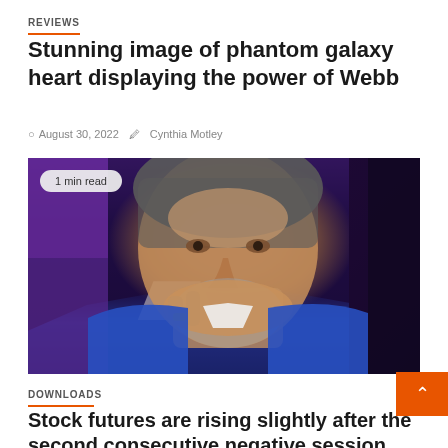REVIEWS
Stunning image of phantom galaxy heart displaying the power of Webb
August 30, 2022   Cynthia Motley
[Figure (photo): Close-up photo of a middle-aged man with gray hair and beard, resting his chin on his hand thoughtfully, wearing a blue jacket and white shirt. A badge overlay reads '1 min read'.]
DOWNLOADS
Stock futures are rising slightly after the second consecutive negative session